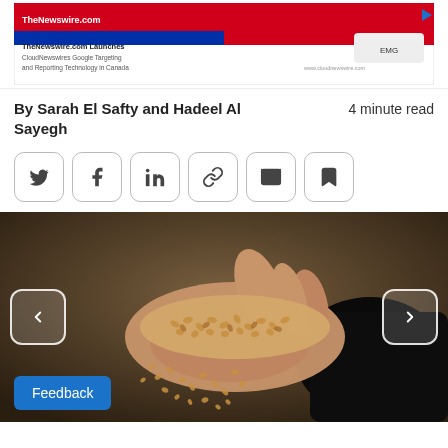[Figure (screenshot): Advertisement banner for TheNewswire.com at top of page showing 'TheNewswire.com Launches CloudNewswires Google Targeting and Reporting Technology in Canada']
By Sarah El Safty and Hadeel Al Sayegh
4 minute read
[Figure (infographic): Social share buttons: Twitter, Facebook, LinkedIn, Link/copy, Email, Bookmark]
[Figure (photo): A hand holding and pouring wheat/grain seeds, spilling downwards, against a dark background]